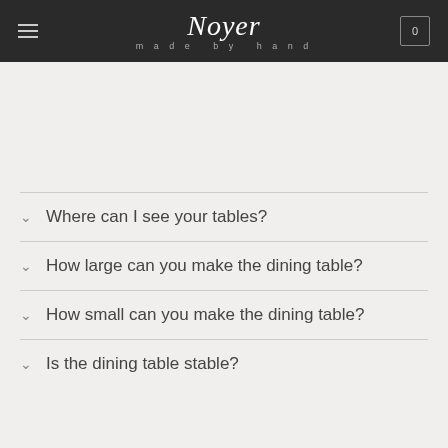Noyer made by hand
Where can I see your tables?
How large can you make the dining table?
How small can you make the dining table?
Is the dining table stable?